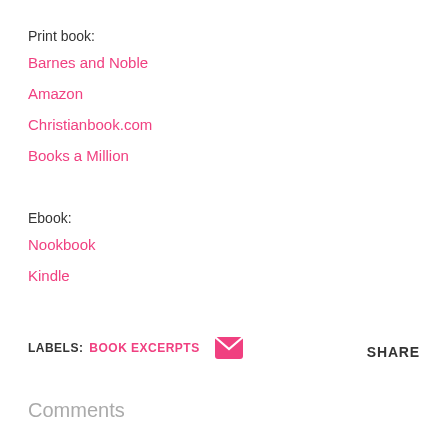Print book:
Barnes and Noble
Amazon
Christianbook.com
Books a Million
Ebook:
Nookbook
Kindle
LABELS: BOOK EXCERPTS  [email icon]  SHARE
Comments